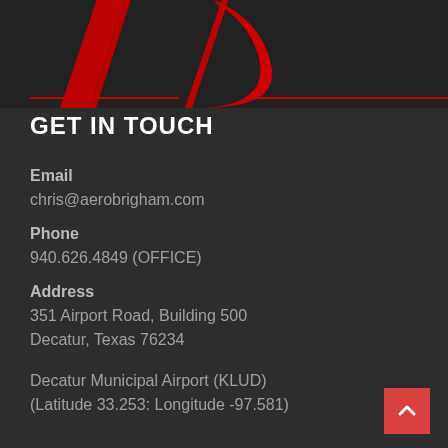[Figure (logo): Partial red stylized 'JD' or aviation logo on dark background, top of page]
GET IN TOUCH
Email
chris@aerobrigham.com
Phone
940.626.4849 (OFFICE)
Address
351 Airport Road, Building 500
Decatur, Texas 76234
Decatur Municipal Airport (KLUD)
(Latitude 33.253: Longitude -97.581)